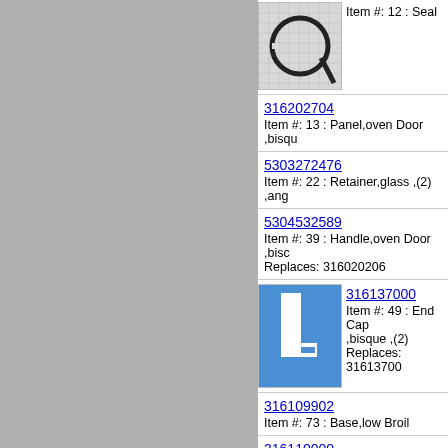[Figure (photo): Partial view of a rubber door seal part on grid background]
Item #: 12 : Seal
316202704
Item #: 13 : Panel,oven Door ,bisqu
5303272476
Item #: 22 : Retainer,glass ,(2) ,ang
5304532589
Item #: 39 : Handle,oven Door ,bisco
Replaces: 316020206
[Figure (photo): White oven door end cap part on blue background]
316137000
Item #: 49 : End Cap ,bisque ,(2)
Replaces: 316137000
316109902
Item #: 73 : Base,low Broil
316110000
Item #: 93 : Shield,ignitor ,metal
[Figure (photo): Partial view of a brown part at bottom of page]
3017142
Item #: 59A : Ign